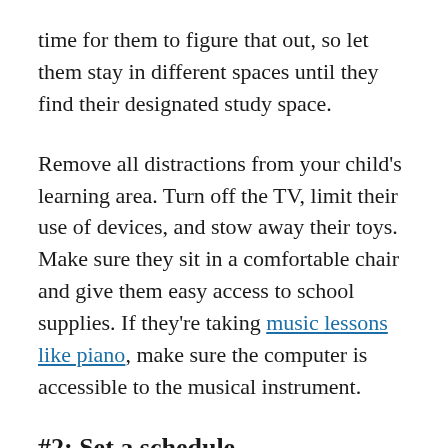time for them to figure that out, so let them stay in different spaces until they find their designated study space.
Remove all distractions from your child's learning area. Turn off the TV, limit their use of devices, and stow away their toys. Make sure they sit in a comfortable chair and give them easy access to school supplies. If they're taking music lessons like piano, make sure the computer is accessible to the musical instrument.
#2: Set a schedule
Children work best when they maintain a